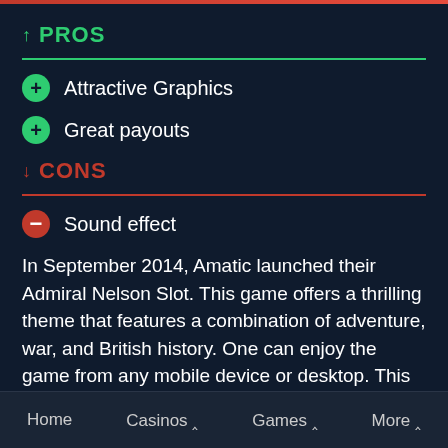↑ PROS
Attractive Graphics
Great payouts
↓ CONS
Sound effect
In September 2014, Amatic launched their Admiral Nelson Slot. This game offers a thrilling theme that features a combination of adventure, war, and British history. One can enjoy the game from any mobile device or desktop. This 5-reel, 3-row and 10-payline slot game offers players very generous rewards for
Home   Casinos ^   Games ^   More ^